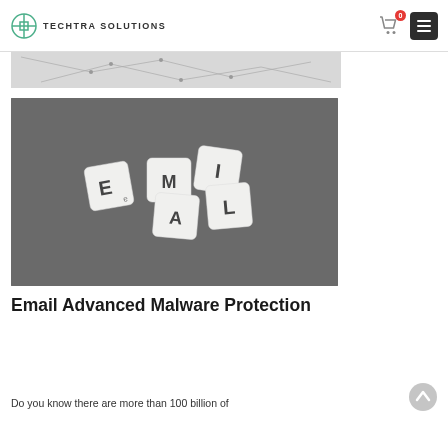TECHTRA SOLUTIONS
[Figure (photo): Abstract network/connectivity graphic used as a banner strip background]
[Figure (photo): Dark gray background with scrabble-like tiles spelling 'EMAIL' scattered across it]
Email Advanced Malware Protection
Do you know there are more than 100 billion of